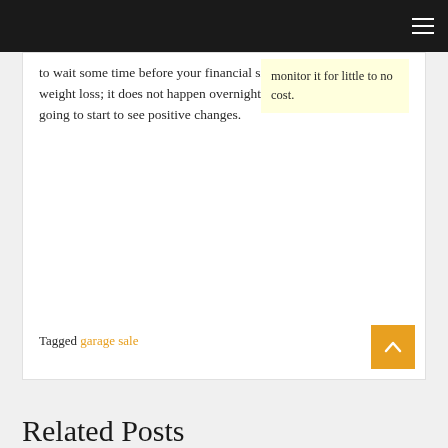to wait some time before your financial situation improves. It is like weight loss; it does not happen overnight. Keep with it, and you are going to start to see positive changes.
monitor it for little to no cost.
Tagged garage sale
Related Posts